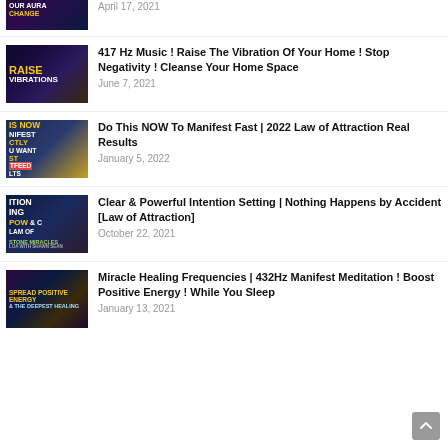Bring Positive Changes Into Your Life
April 17, 2021
417 Hz Music ! Raise The Vibration Of Your Home ! Stop Negativity ! Cleanse Your Home Space
June 7, 2021
Do This NOW To Manifest Fast | 2022 Law of Attraction Real Results
January 5, 2022
Clear & Powerful Intention Setting | Nothing Happens by Accident [Law of Attraction]
October 22, 2021
Miracle Healing Frequencies | 432Hz Manifest Meditation ! Boost Positive Energy ! While You Sleep
January 13, 2021